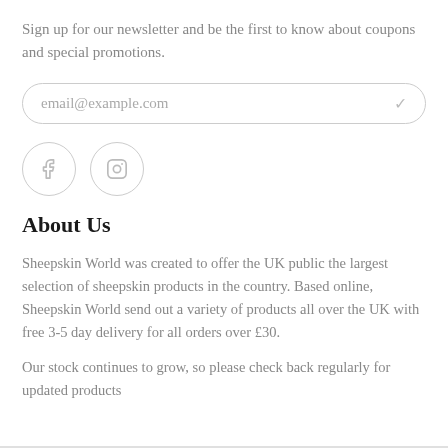Sign up for our newsletter and be the first to know about coupons and special promotions.
[Figure (other): Email input field with placeholder text 'email@example.com' and a checkmark icon, styled with rounded border]
[Figure (other): Two social media icons: Facebook (f) and Instagram (camera), each inside a circular border]
About Us
Sheepskin World was created to offer the UK public the largest selection of sheepskin products in the country. Based online, Sheepskin World send out a variety of products all over the UK with free 3-5 day delivery for all orders over £30.
Our stock continues to grow, so please check back regularly for updated products